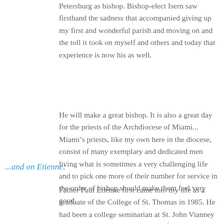Petersburg as bishop. Bishop-elect Isern saw firsthand the sadness that accompanied giving up my first and wonderful parish and moving on and the toll it took on myself and others and today that experience is now his as well.
He will make a great bishop. It is also a great day for the priests of the Archdiocese of Miami... Miami's priests, like my own here in the diocese, consist of many exemplary and dedicated men living what is sometimes a very challenging life and to pick one more of their number for service in the order of bishop should make them feel very good.
...and on Etienne:
Father Paul Etienne first came into my life as a graduate of the College of St. Thomas in 1985. He had been a college seminarian at St. John Vianney College seminary on the campus of St. Thomas and had decided to take some time off to reflect on the commitment to celibacy. The Rector